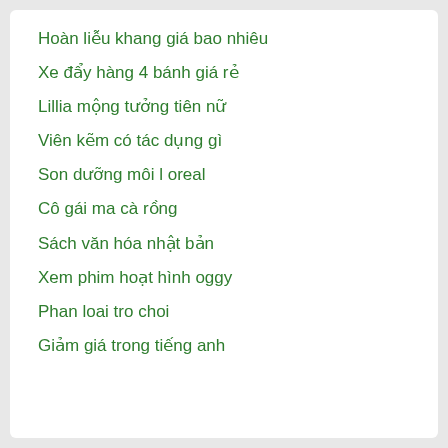Hoàn liễu khang giá bao nhiêu
Xe đẩy hàng 4 bánh giá rẻ
Lillia mộng tưởng tiên nữ
Viên kẽm có tác dụng gì
Son dưỡng môi l oreal
Cô gái ma cà rồng
Sách văn hóa nhật bản
Xem phim hoạt hình oggy
Phan loai tro choi
Giảm giá trong tiếng anh